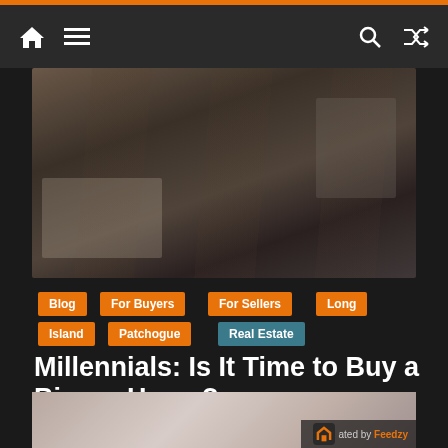Navigation bar with home icon, menu icon, search icon, shuffle icon
[Figure (photo): Dark photo of a person working at a desk with papers and equipment, industrial/workspace setting]
Blog
For Buyers
For Sellers
Long Island
Patchogue
Real Estate
Millennials: Is It Time to Buy a Bigger Home?
February 16, 2021  DH-27-29  0 Comments
[Figure (photo): Bottom portion of a second photo partially visible, lighter tones showing interior scene]
Generated by Feedzy